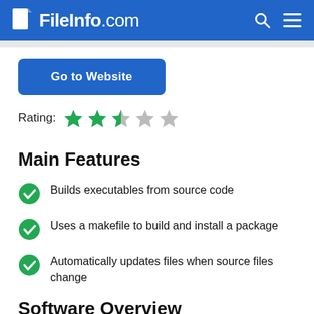FileInfo.com
Go to Website
Rating: 3 out of 5 stars
Main Features
Builds executables from source code
Uses a makefile to build and install a package
Automatically updates files when source files change
Software Overview